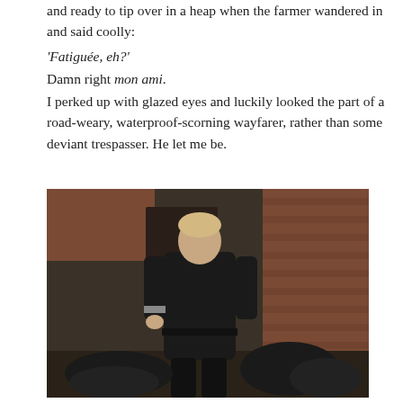and ready to tip over in a heap when the farmer wandered in and said coolly: 'Fatiguée, eh?' Damn right mon ami. I perked up with glazed eyes and luckily looked the part of a road-weary, waterproof-scorning wayfarer, rather than some deviant trespasser. He let me be.
[Figure (photo): A person in a dark leather jacket and riding gear standing in a barn or outbuilding with brick walls, with bags and motorcycle gear on the ground beside them.]